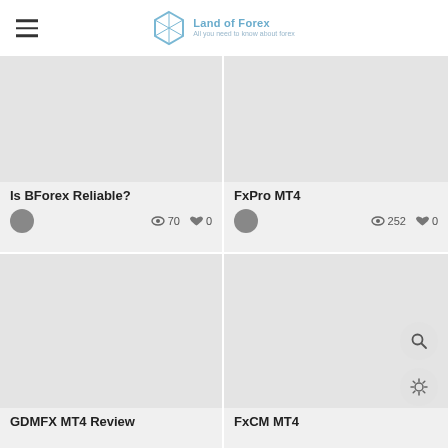Land of Forex — All you need to know about forex
[Figure (screenshot): Gray placeholder image for Is BForex Reliable? article]
Is BForex Reliable?
👁 70  ♥ 0
[Figure (screenshot): Gray placeholder image for FxPro MT4 article]
FxPro MT4
👁 252  ♥ 0
[Figure (screenshot): Gray placeholder image for GDMFX MT4 Review article]
GDMFX MT4 Review
[Figure (screenshot): Gray placeholder image for FxCM MT4 article]
FxCM MT4